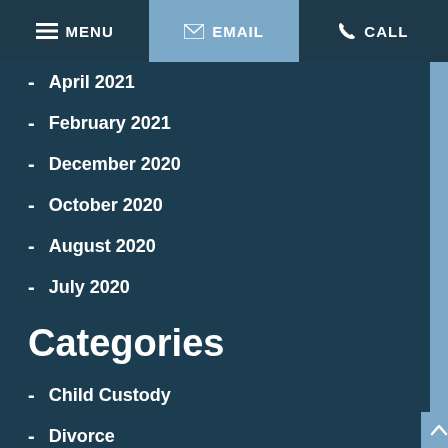MENU | EMAIL | CALL
April 2021
February 2021
December 2020
October 2020
August 2020
July 2020
Categories
Child Custody
Divorce
Firm News
Property Division